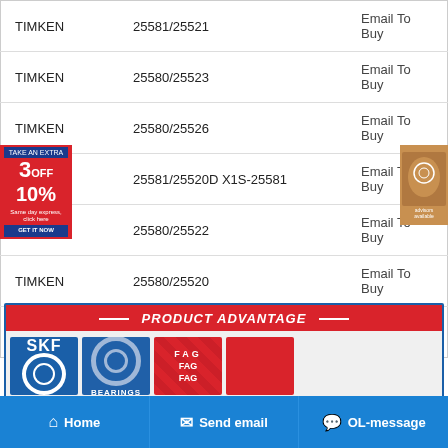| Brand | Model | Action |
| --- | --- | --- |
| TIMKEN | 25581/25521 | Email To Buy |
| TIMKEN | 25580/25523 | Email To Buy |
| TIMKEN | 25580/25526 | Email To Buy |
| TIMKEN | 25581/25520D X1S-25581 | Email To Buy |
| TIMKEN | 25580/25522 | Email To Buy |
| TIMKEN | 25580/25520 | Email To Buy |
| TIMKEN | 25582/25521 | Email To Buy |
[Figure (infographic): PRODUCT ADVANTAGE section showing brand logos: SKF, NSK Bearings, FAG, and a fourth brand (red)]
Home | Send email | OL-message